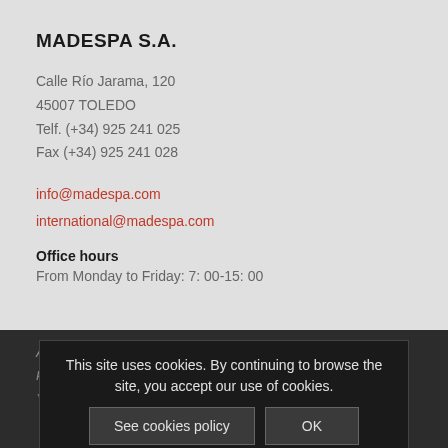MADESPA S.A.
Calle Río Jarama, 120
45007 TOLEDO
Telf. (+34) 925 241 025
Fax (+34) 925 241 028
info@madespa.com
international@madespa.com
Office hours
From Monday to Friday: 7: 00-15: 00
Any questions or questions ..., tell us.
Phone - Email*
This site uses cookies. By continuing to browse the site, you accept our use of cookies.
See cookies policy   OK
Your Question...